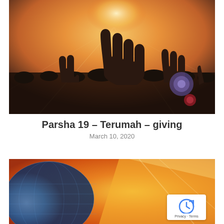[Figure (photo): Silhouette of multiple hands raised against a warm sunset/sunrise sky with golden and orange hues and light rays]
Parsha 19 – Terumah – giving
March 10, 2020
[Figure (photo): Abstract colorful image with blue globe-like shapes on the left and warm orange/yellow light rays on the right, partially visible]